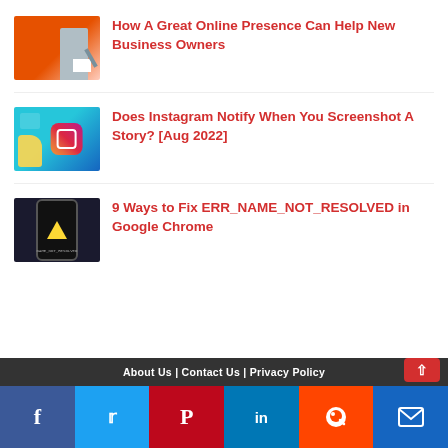[Figure (photo): Thumbnail of person writing at desk with orange background]
How A Great Online Presence Can Help New Business Owners
[Figure (photo): Thumbnail of hand pointing at Instagram logo on teal background]
Does Instagram Notify When You Screenshot A Story? [Aug 2022]
[Figure (photo): Thumbnail of phone showing ERR_NAME_NOT_RESOLVED error on dark background]
9 Ways to Fix ERR_NAME_NOT_RESOLVED in Google Chrome
About Us | Contact Us | Privacy Policy
f  t  P  in  reddit  mail icons